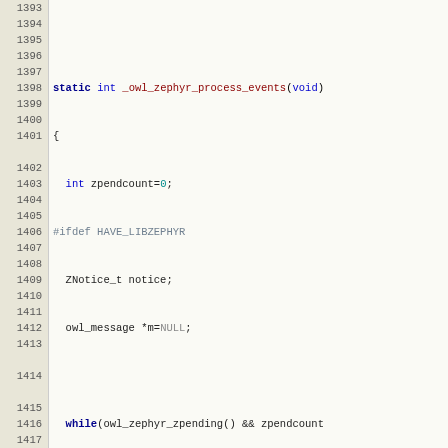[Figure (screenshot): Source code screenshot showing C function _owl_zephyr_process_events with line numbers 1393-1421, syntax highlighted in dark-on-light theme]